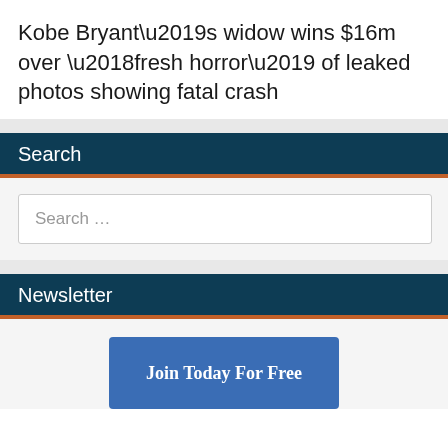Kobe Bryant’s widow wins $16m over ‘fresh horror’ of leaked photos showing fatal crash
Search
Search …
Newsletter
Join Today For Free